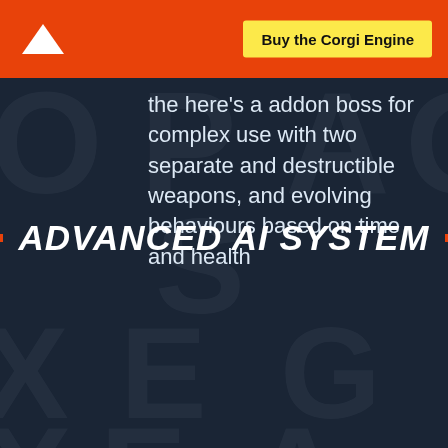Buy the Corgi Engine
the here's a addon boss for complex use with two separate and destructible weapons, and evolving behaviours based on time and health
ADVANCED AI SYSTEM